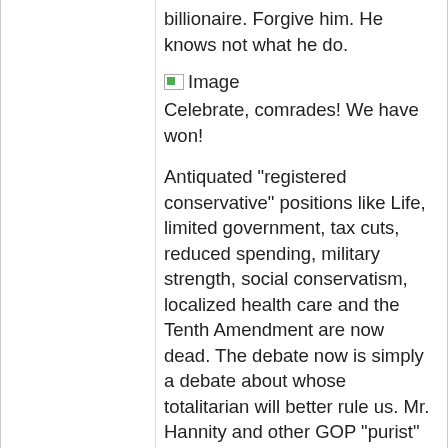billionaire. Forgive him. He knows not what he do.
[Figure (photo): Image placeholder icon]
Celebrate, comrades! We have won!
Antiquated "registered conservative" positions like Life, limited government, tax cuts, reduced spending, military strength, social conservatism, localized health care and the Tenth Amendment are now dead. The debate now is simply a debate about whose totalitarian will better rule us. Mr. Hannity and other GOP "purist" now recognize the evil of their ways and are now embracing a more active and more liberal position on important debates of the past.Mr. Trumps rise to the top of the GOP as its likely nominee will undoubtedly give